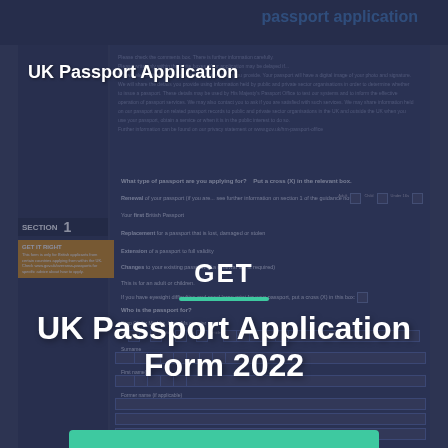UK Passport Application
GET
UK Passport Application Form 2022
Get Form